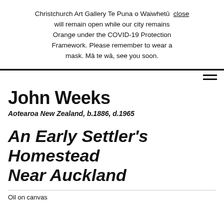Christchurch Art Gallery Te Puna o Waiwhetū will remain open while our city remains Orange under the COVID-19 Protection Framework. Please remember to wear a mask. Mā te wā, see you soon. close
John Weeks
Aotearoa New Zealand, b.1886, d.1965
An Early Settler's Homestead Near Auckland
Oil on canvas